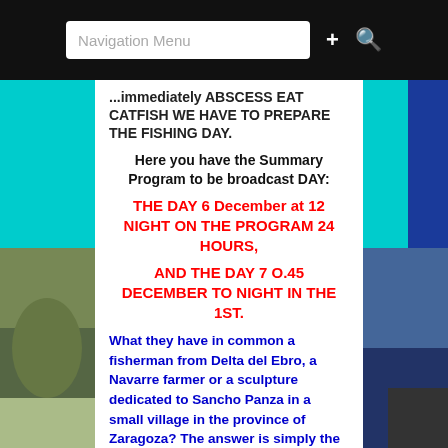Navigation Menu
...immediately ABSCESS EAT CATFISH WE HAVE TO PREPARE THE FISHING DAY.
Here you have the Summary Program to be broadcast DAY:
THE DAY 6 December at 12 NIGHT ON THE PROGRAM 24 HOURS,
AND THE DAY 7 O.45 DECEMBER TO NIGHT IN THE 1ST.
What they have in common a fisherman from Delta del Ebro, a Navarre farmer or a sculpture dedicated to Sancho Panza in a small village in the province of Zaragoza? The answer is simply the Ebro river, the longest in Spain, the most abundant and most controversies raised by the distribution